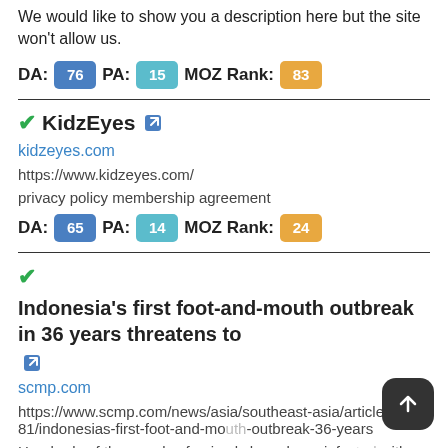We would like to show you a description here but the site won't allow us.
DA: 76  PA: 15  MOZ Rank: 83
KidzEyes
kidzeyes.com
https://www.kidzeyes.com/
privacy policy membership agreement
DA: 65  PA: 14  MOZ Rank: 24
Indonesia's first foot-and-mouth outbreak in 36 years threatens to
scmp.com
https://www.scmp.com/news/asia/southeast-asia/article/3184281/indonesias-first-foot-and-mouth-outbreak-36-years
Hundreds of thousands of animals have been infected with the contagious viral disease across Indonesia.